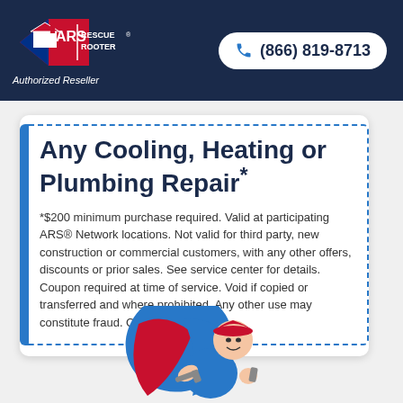[Figure (logo): ARS Rescue Rooter logo — diamond shape with red house, blue/red triangle, white ARS text and Rescue Rooter text]
Authorized Reseller
(866) 819-8713
Any Cooling, Heating or Plumbing Repair*
*$200 minimum purchase required. Valid at participating ARS® Network locations. Not valid for third party, new construction or commercial customers, with any other offers, discounts or prior sales. See service center for details. Coupon required at time of service. Void if copied or transferred and where prohibited. Any other use may constitute fraud. Cash value $.001.
[Figure (illustration): ARS superhero mascot cartoon character wearing red cape and blue uniform, holding a wrench]